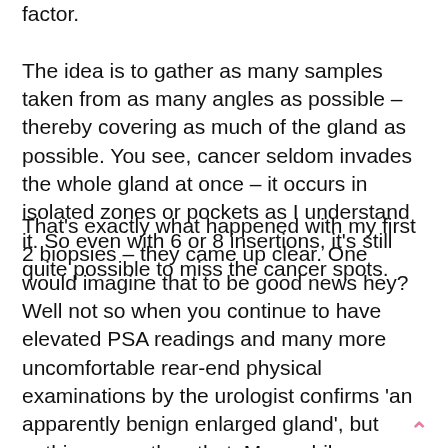factor.
The idea is to gather as many samples taken from as many angles as possible – thereby covering as much of the gland as possible. You see, cancer seldom invades the whole gland at once – it occurs in isolated zones or pockets as I understand it. So even with 6 or 8 insertions, it's still quite possible to miss the cancer spots.
That's exactly what happened with my first 2 biopsies – they came up clear. One would imagine that to be good news hey? Well not so when you continue to have elevated PSA readings and many more uncomfortable rear-end physical examinations by the urologist confirms 'an apparently benign enlarged gland', but nothing more than that. Meanwhile urinating became